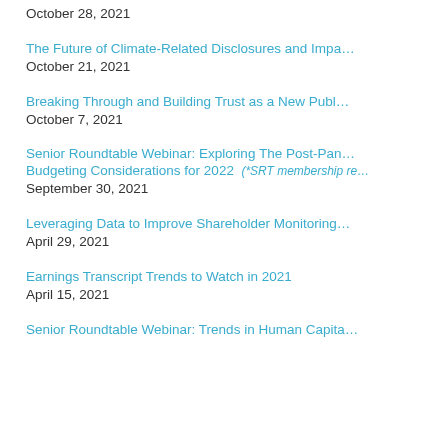October 28, 2021
The Future of Climate-Related Disclosures and Impa…
October 21, 2021
Breaking Through and Building Trust as a New Publ…
October 7, 2021
Senior Roundtable Webinar: Exploring The Post-Pan… Budgeting Considerations for 2022  (*SRT membership re…
September 30, 2021
Leveraging Data to Improve Shareholder Monitoring…
April 29, 2021
Earnings Transcript Trends to Watch in 2021
April 15, 2021
Senior Roundtable Webinar: Trends in Human Capita…